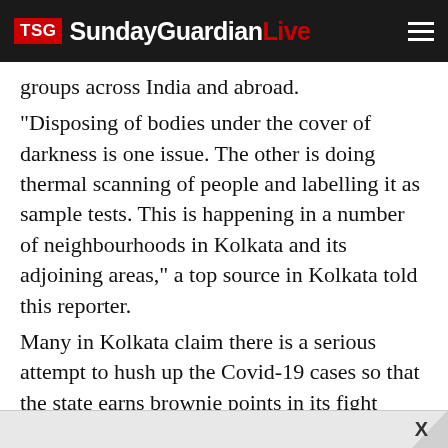TSG SundayGuardianLive
groups across India and abroad.
“Disposing of bodies under the cover of darkness is one issue. The other is doing thermal scanning of people and labelling it as sample tests. This is happening in a number of neighbourhoods in Kolkata and its adjoining areas,” a top source in Kolkata told this reporter.
Many in Kolkata claim there is a serious attempt to hush up the Covid-19 cases so that the state earns brownie points in its fight against Covid-19 ever since the first case was reported on March 17, 2020, when an 18-year-old student, who had returned from London, tested positive for the virus. Even